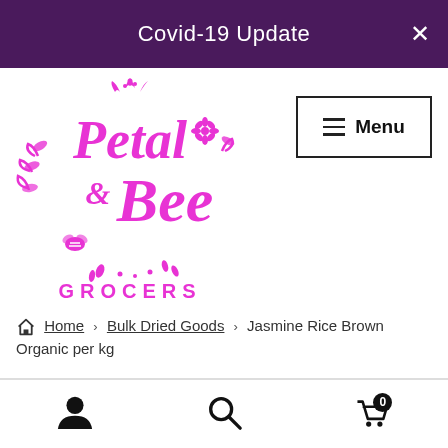Covid-19 Update
[Figure (logo): Petal & Bee Grocers logo in hot pink/magenta with decorative floral and bee elements]
Menu
Home › Bulk Dried Goods › Jasmine Rice Brown Organic per kg
Account | Search | Cart (0)